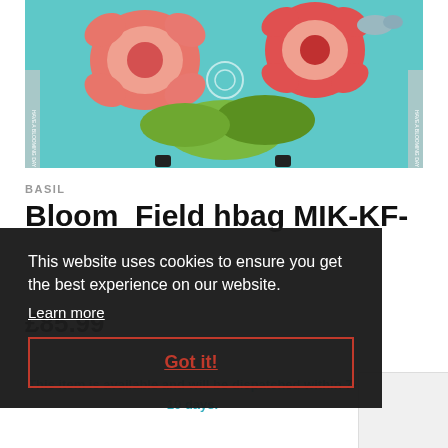[Figure (photo): Product photo of a Basil Bloom Field handlebar bag with teal/turquoise floral pattern featuring pink flowers and birds, with text 'HAVE A BLOOMING DAY' visible on straps]
BASIL
Bloom Field hbag MIK-KF-
£85.99
This website uses cookies to ensure you get the best experience on our website.
Learn more
Got it!
This item is available and will be dispatched within 7-10 days.